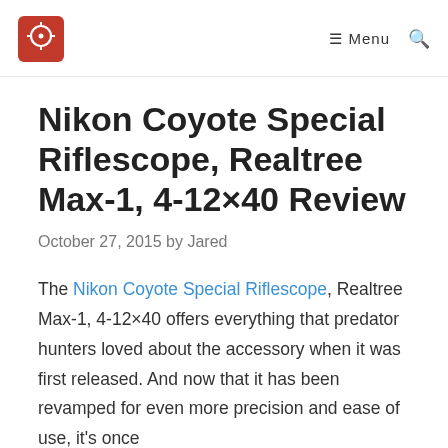Menu
Nikon Coyote Special Riflescope, Realtree Max-1, 4-12×40 Review
October 27, 2015 by Jared
The Nikon Coyote Special Riflescope, Realtree Max-1, 4-12×40 offers everything that predator hunters loved about the accessory when it was first released. And now that it has been revamped for even more precision and ease of use, it's once